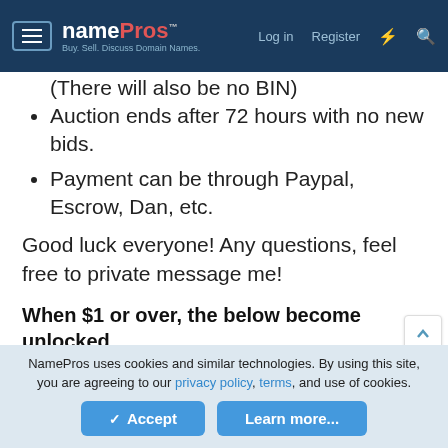NamePros — Buy. Sell. Discuss Domain Names. | Log in | Register
(There will also be no BIN)
Auction ends after 72 hours with no new bids.
Payment can be through Paypal, Escrow, Dan, etc.
Good luck everyone! Any questions, feel free to private message me!
When $1 or over, the below become unlocked
WISIndex.com - 2020-05-01 - 0Yrs (NameCheap, Inc.)
NamePros uses cookies and similar technologies. By using this site, you are agreeing to our privacy policy, terms, and use of cookies.